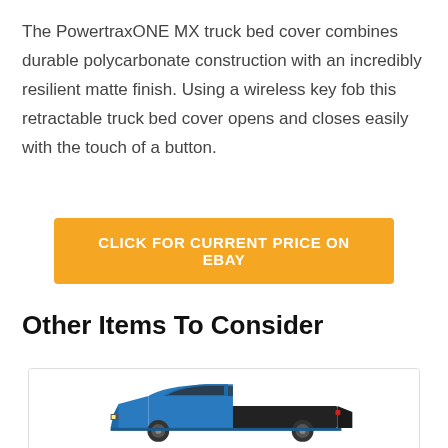The PowertraxONE MX truck bed cover combines durable polycarbonate construction with an incredibly resilient matte finish. Using a wireless key fob this retractable truck bed cover opens and closes easily with the touch of a button.
[Figure (other): Orange button with white text: CLICK FOR CURRENT PRICE ON EBAY]
Other Items To Consider
[Figure (photo): Blue pickup truck with a black retractable truck bed cover, shown from a 3/4 rear angle view inside a white card/box.]